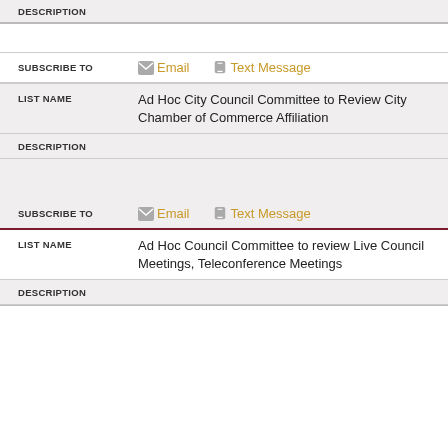DESCRIPTION
SUBSCRIBE TO  Email  Text Message
| LIST NAME |  |
| --- | --- |
| LIST NAME | Ad Hoc City Council Committee to Review City Chamber of Commerce Affiliation |
DESCRIPTION
SUBSCRIBE TO  Email  Text Message
| LIST NAME |  |
| --- | --- |
| LIST NAME | Ad Hoc Council Committee to review Live Council Meetings, Teleconference Meetings |
DESCRIPTION